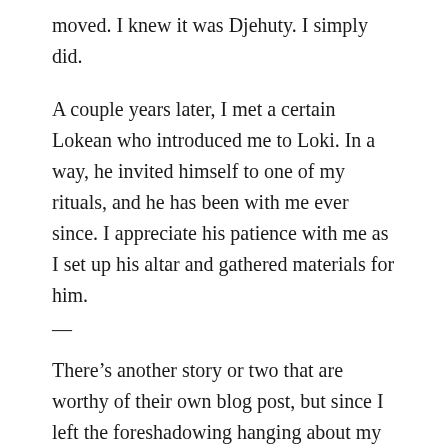moved. I knew it was Djehuty. I simply did.
A couple years later, I met a certain Lokean who introduced me to Loki. In a way, he invited himself to one of my rituals, and he has been with me ever since. I appreciate his patience with me as I set up his altar and gathered materials for him.
—
There’s another story or two that are worthy of their own blog post, but since I left the foreshadowing hanging about my relationships that get off on the wrong foot, horribly, I suppose I’ll share one more.
About t…